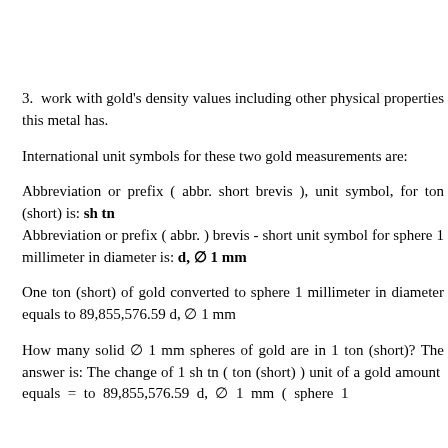3. work with gold's density values including other physical properties this metal has.
International unit symbols for these two gold measurements are:
Abbreviation or prefix ( abbr. short brevis ), unit symbol, for ton (short) is: sh tn
Abbreviation or prefix ( abbr. ) brevis - short unit symbol for sphere 1 millimeter in diameter is: d, ∅ 1 mm
One ton (short) of gold converted to sphere 1 millimeter in diameter equals to 89,855,576.59 d, ∅ 1 mm
How many solid ∅ 1 mm spheres of gold are in 1 ton (short)? The answer is: The change of 1 sh tn ( ton (short) ) unit of a gold amount equals = to 89,855,576.59 d, ∅ 1 mm ( sphere 1